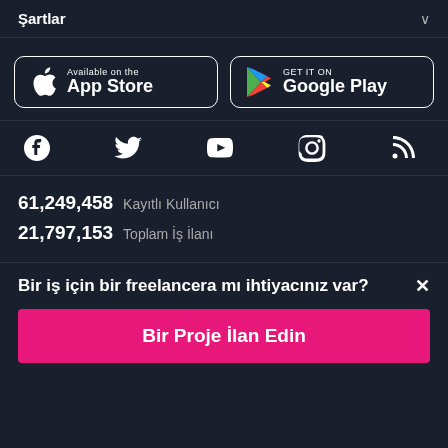Şartlar
[Figure (logo): Apple App Store badge — Available on the App Store]
[Figure (logo): Google Play badge — GET IT ON Google Play]
[Figure (infographic): Social media icons row: Facebook, Twitter, YouTube, Instagram, RSS]
61,249,458  Kayıtlı Kullanıcı
21,797,153  Toplam İş İlanı
Bir iş için bir freelancera mı ihtiyacınız var?
Bir Proje İlan Edin